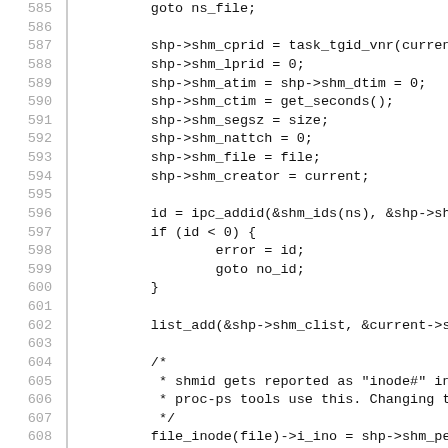[Figure (screenshot): Source code listing showing lines 585-615 of a Linux kernel C source file (shm.c), displaying shared memory segment initialization code including ipc_addid, list_add, file_inode assignment, and ipc_unlock_object calls, with line numbers on the left separated by a vertical bar.]